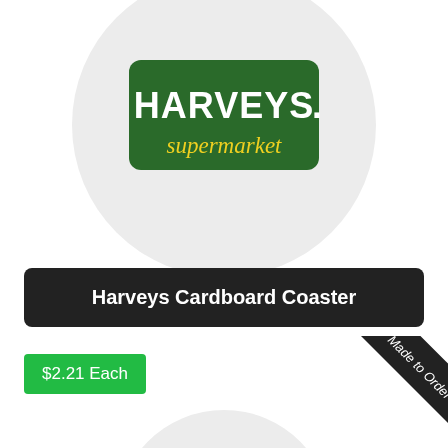[Figure (logo): Harveys Supermarket logo on a circular light gray coaster/disc. The logo shows a dark green rounded rectangle with white bold text 'HARVEYS.' and yellow script text 'supermarket' below it.]
Harveys Cardboard Coaster
$2.21 Each
[Figure (photo): Corner badge/ribbon in dark charcoal color with white italic text 'Made to Order' rotated diagonally, placed in the bottom-right area of the page.]
[Figure (photo): Partial view of another circular coaster at the very bottom of the page.]